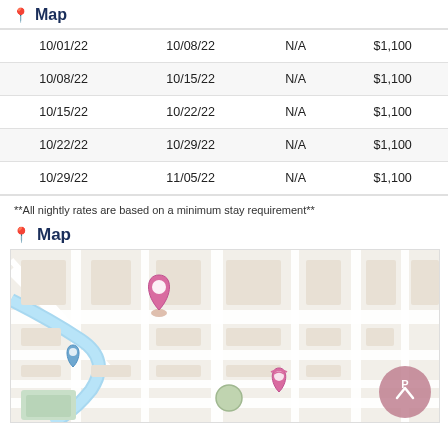Map
| 10/01/22 | 10/08/22 | N/A | $1,100 |
| 10/08/22 | 10/15/22 | N/A | $1,100 |
| 10/15/22 | 10/22/22 | N/A | $1,100 |
| 10/22/22 | 10/29/22 | N/A | $1,100 |
| 10/29/22 | 11/05/22 | N/A | $1,100 |
**All nightly rates are based on a minimum stay requirement**
Map
[Figure (map): Street map showing location marker (pink pin) and nearby points of interest with blue river/road, green area, and additional map markers.]